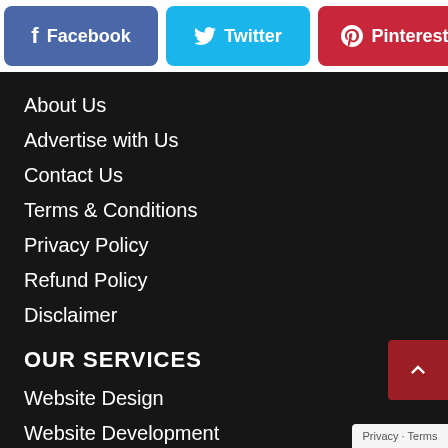[Figure (other): Social sharing buttons: Facebook (blue), Twitter (light blue), Pinterest (red), LinkedIn (light blue, partially cut off)]
About Us
Advertise with Us
Contact Us
Terms & Conditions
Privacy Policy
Refund Policy
Disclaimer
OUR SERVICES
Website Design
Website Development
Website Maintenance
Web Hosting